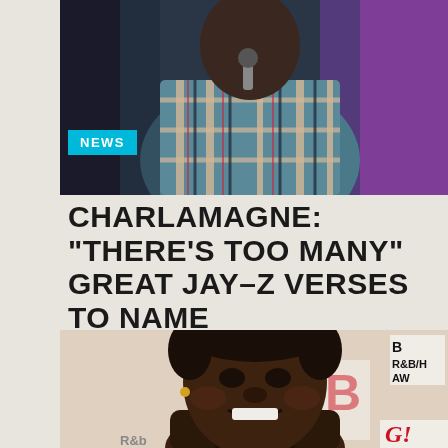[Figure (photo): Person in a plaid/checkered blue and beige jacket on a stage with purple lighting background]
NEWS
CHARLAMAGNE: "THERE'S TOO MANY" GREAT JAY-Z VERSES TO NAME
[Figure (photo): Smiling person with short curly hair wearing gold chain jewelry at what appears to be a BET R&B/Hip-Hop Awards event, with a GQ logo visible in the corner]